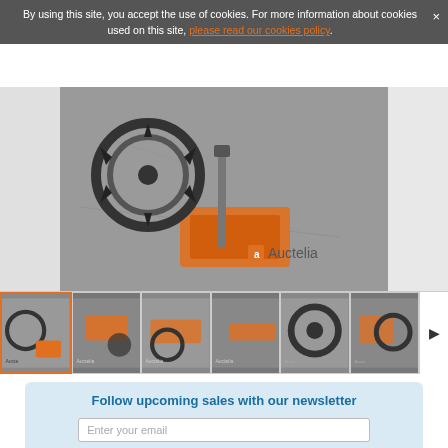By using this site, you accept the use of cookies. For more information about cookies used on this site, please read our cookies policy.
[Figure (photo): Top-down view of an orange floor saw/concrete cutter with a diamond blade, placed on a concrete surface. Auctelia logo watermark visible in the lower-right corner of the image.]
[Figure (photo): Thumbnail strip showing 6 photos of the same orange floor saw/concrete cutter from various angles, with Auctelia watermarks. First thumbnail has an orange border indicating it is selected.]
Follow upcoming sales with our newsletter
Enter your email
Subscribe
Similar items